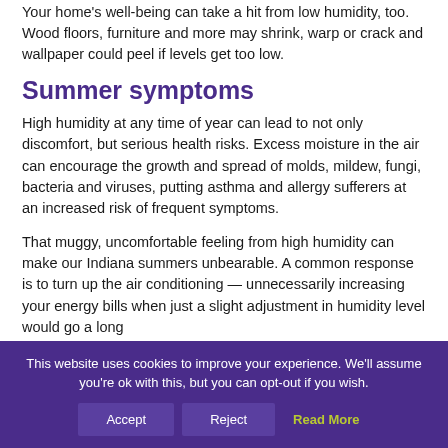Your home's well-being can take a hit from low humidity, too. Wood floors, furniture and more may shrink, warp or crack and wallpaper could peel if levels get too low.
Summer symptoms
High humidity at any time of year can lead to not only discomfort, but serious health risks. Excess moisture in the air can encourage the growth and spread of molds, mildew, fungi, bacteria and viruses, putting asthma and allergy sufferers at an increased risk of frequent symptoms.
That muggy, uncomfortable feeling from high humidity can make our Indiana summers unbearable. A common response is to turn up the air conditioning — unnecessarily increasing your energy bills when just a slight adjustment in humidity level would go a long way.
This website uses cookies to improve your experience. We'll assume you're ok with this, but you can opt-out if you wish.
Accept  Reject  Read More